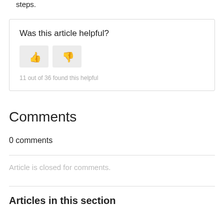steps.
Was this article helpful?
11 out of 36 found this helpful
Comments
0 comments
Article is closed for comments.
Articles in this section